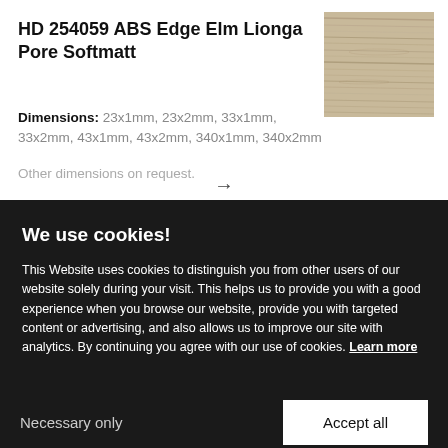HD 254059 ABS Edge Elm Lionga Pore Softmatt
[Figure (photo): Wood texture swatch showing light brown/grey elm wood grain pattern]
Dimensions: 23x1mm, 23x2mm, 33x1mm, 33x2mm, 43x1mm, 43x2mm, 340x1mm, 340x2mm
Other dimensions on request.
We use cookies!
This Website uses cookies to distinguish you from other users of our website solely during your visit. This helps us to provide you with a good experience when you browse our website, provide you with targeted content or advertising, and also allows us to improve our site with analytics. By continuing you agree with our use of cookies. Learn more
Necessary only
Accept all